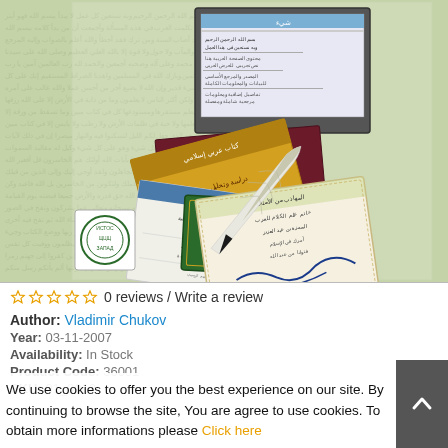[Figure (illustration): Book cover illustration with Arabic text, showing multiple book/document covers fanned out on a green textured background with Arabic calligraphy, a quill pen, and a Cyrillic-stamped seal (ЗАПАД)]
0 reviews / Write a review
Author: Vladimir Chukov
Year: 03-11-2007
Availability: In Stock
Product Code: 36001
SKU: 01_0012
We use cookies to offer you the best experience on our site. By continuing to browse the site, You are agree to use cookies. To obtain more informations please Click here